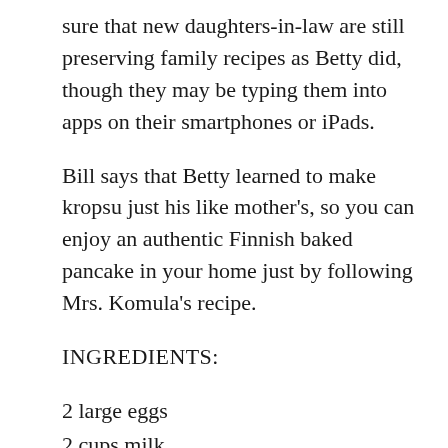sure that new daughters-in-law are still preserving family recipes as Betty did, though they may be typing them into apps on their smartphones or iPads.
Bill says that Betty learned to make kropsu just his like mother's, so you can enjoy an authentic Finnish baked pancake in your home just by following Mrs. Komula's recipe.
INGREDIENTS:
2 large eggs
2 cups milk
1 cup all-purpose flour
1 tsp. salt